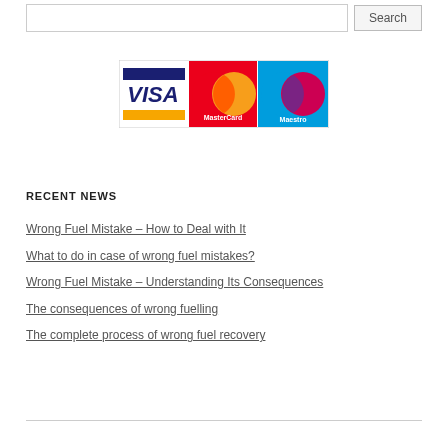[Figure (screenshot): Search bar with text input and Search button]
[Figure (logo): Payment logos: VISA, MasterCard, Maestro]
RECENT NEWS
Wrong Fuel Mistake – How to Deal with It
What to do in case of wrong fuel mistakes?
Wrong Fuel Mistake – Understanding Its Consequences
The consequences of wrong fuelling
The complete process of wrong fuel recovery